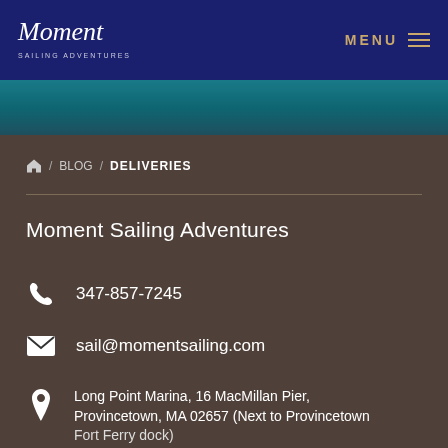Moment Sailing Adventures — MENU
/ BLOG / DELIVERIES
Moment Sailing Adventures
347-857-7245
sail@momentsailing.com
Long Point Marina, 16 MacMillan Pier, Provincetown, MA 02657 (Next to Provincetown Fort Ferry dock)